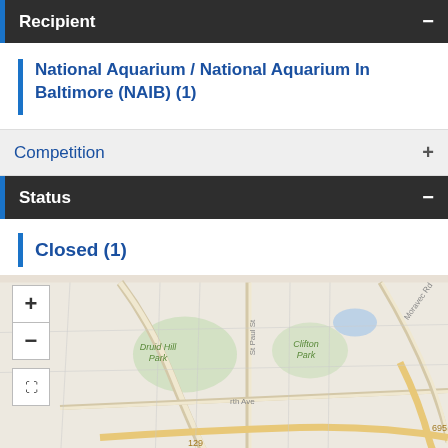Recipient
National Aquarium / National Aquarium In Baltimore (NAIB) (1)
Competition
Status
Closed (1)
[Figure (map): Street map of Baltimore area showing Druid Hill Park, Clifton Park, St Paul St, North Ave, Moravec Rd, and highway 129 and 695 with zoom controls and expand button overlay.]